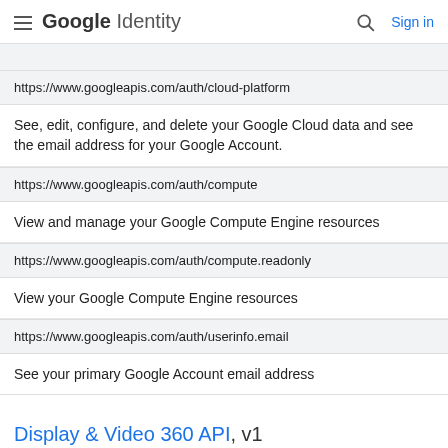Google Identity  Sign in
https://www.googleapis.com/auth/cloud-platform
See, edit, configure, and delete your Google Cloud data and see the email address for your Google Account.
https://www.googleapis.com/auth/compute
View and manage your Google Compute Engine resources
https://www.googleapis.com/auth/compute.readonly
View your Google Compute Engine resources
https://www.googleapis.com/auth/userinfo.email
See your primary Google Account email address
Display & Video 360 API, v1